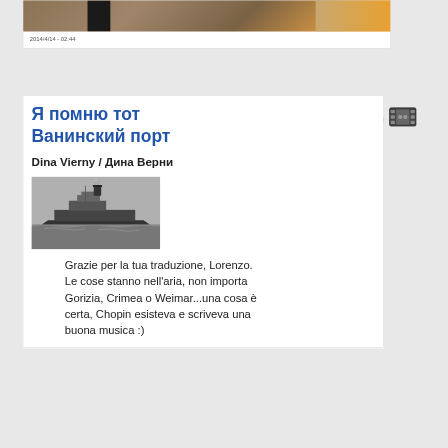[Figure (photo): Partial view of a colorful artwork/painting with brown, teal, and orange tones; a dark bar overlaid on left portion]
2014/4/14 - 02:44
Я помню тот Ванинский порт
Dina Vierny / Дина Верни
[Figure (photo): Black and white photograph of a steam ship at sea]
Grazie per la tua traduzione, Lorenzo. Le cose stanno nell'aria, non importa Gorizia, Crimea o Weimar...una cosa è certa, Chopin esisteva e scriveva una buona musica :)